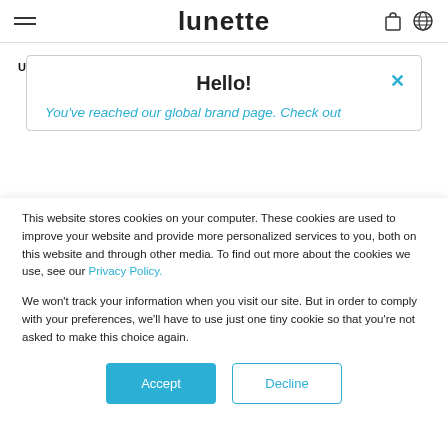lunette
Use hashtag #LunetteCup for the chance to be featured.
Hello!
You've reached our global brand page. Check out
This website stores cookies on your computer. These cookies are used to improve your website and provide more personalized services to you, both on this website and through other media. To find out more about the cookies we use, see our Privacy Policy.
We won't track your information when you visit our site. But in order to comply with your preferences, we'll have to use just one tiny cookie so that you're not asked to make this choice again.